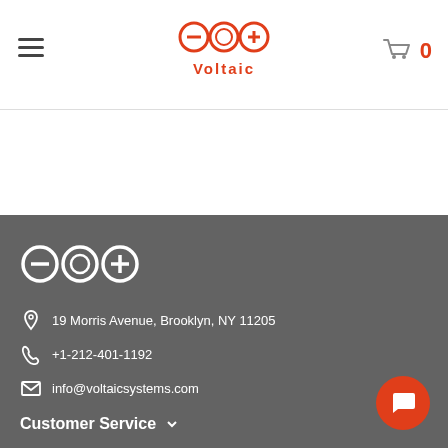Voltaic Systems navigation header with logo and cart
[Figure (logo): Voltaic Systems logo with three circles (minus, C, plus) in red/orange, with 'Voltaic' text below]
[Figure (logo): Voltaic Systems footer logo in white — three circles (minus, C, plus)]
19 Morris Avenue, Brooklyn, NY 11205
+1-212-401-1192
info@voltaicsystems.com
Customer Service
Resources